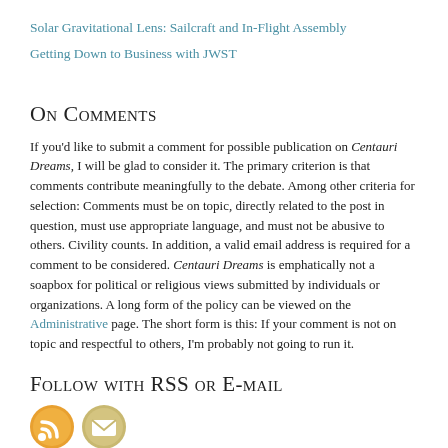Solar Gravitational Lens: Sailcraft and In-Flight Assembly
Getting Down to Business with JWST
On Comments
If you'd like to submit a comment for possible publication on Centauri Dreams, I will be glad to consider it. The primary criterion is that comments contribute meaningfully to the debate. Among other criteria for selection: Comments must be on topic, directly related to the post in question, must use appropriate language, and must not be abusive to others. Civility counts. In addition, a valid email address is required for a comment to be considered. Centauri Dreams is emphatically not a soapbox for political or religious views submitted by individuals or organizations. A long form of the policy can be viewed on the Administrative page. The short form is this: If your comment is not on topic and respectful to others, I'm probably not going to run it.
Follow with RSS or E-mail
[Figure (illustration): RSS feed icon (orange circular icon) and email/envelope icon (tan/gold circular icon) side by side]